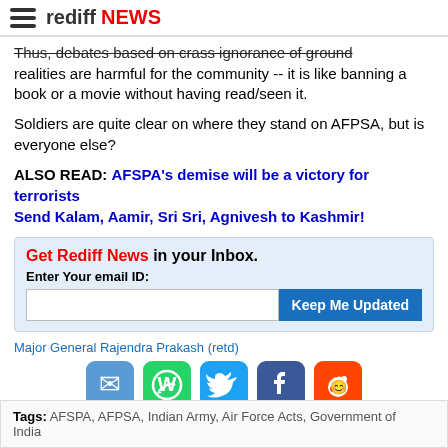rediff NEWS
Thus, debates based on crass ignorance of ground realities are harmful for the community -- it is like banning a book or a movie without having read/seen it.
Soldiers are quite clear on where they stand on AFPSA, but is everyone else?
ALSO READ: AFSPA's demise will be a victory for terrorists
Send Kalam, Aamir, Sri Sri, Agnivesh to Kashmir!
Get Rediff News in your Inbox.
Enter Your email ID:
Major General Rajendra Prakash (retd)
[Figure (infographic): Social sharing icons: email, WhatsApp, Twitter, Facebook, Reddit]
Tags: AFSPA, AFPSA, Indian Army, Air Force Acts, Government of India